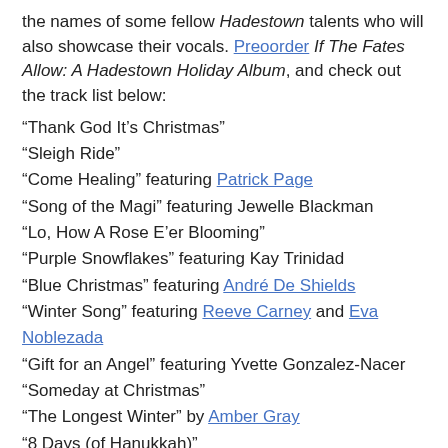the names of some fellow Hadestown talents who will also showcase their vocals. Preoorder If The Fates Allow: A Hadestown Holiday Album, and check out the track list below:
“Thank God It’s Christmas”
“Sleigh Ride”
“Come Healing” featuring Patrick Page
“Song of the Magi” featuring Jewelle Blackman
“Lo, How A Rose E’er Blooming”
“Purple Snowflakes” featuring Kay Trinidad
“Blue Christmas” featuring André De Shields
“Winter Song” featuring Reeve Carney and Eva Noblezada
“Gift for an Angel” featuring Yvette Gonzalez-Nacer
“Someday at Christmas”
“The Longest Winter” by Amber Gray
“8 Days (of Hanukkah)”
“Twas The Night”